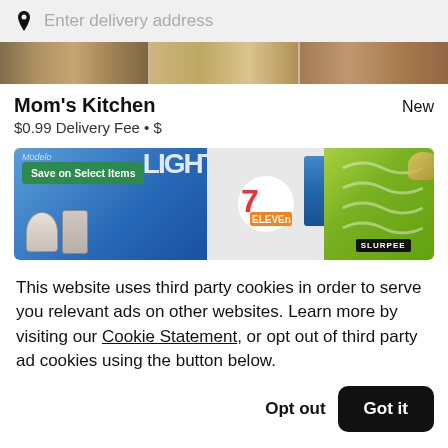Enter delivery address
Mom's Kitchen
$0.99 Delivery Fee • $
[Figure (photo): Promo banner with 'Save on Select Items' badge, food and drink items including ice cream, 7-Eleven logo, and Slurpee branding on green background]
This website uses third party cookies in order to serve you relevant ads on other websites. Learn more by visiting our Cookie Statement, or opt out of third party ad cookies using the button below.
Opt out
Got it